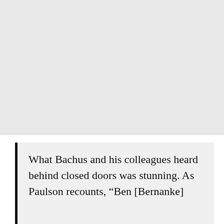[Figure (other): Gray placeholder image occupying the upper portion of the page]
What Bachus and his colleagues heard behind closed doors was stunning. As Paulson recounts, “Ben [Bernanke] described how the financial crisis could...